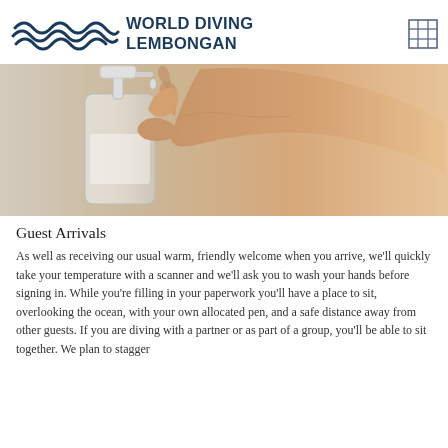[Figure (logo): World Diving Lembongan logo with wave/ocean graphic and text]
[Figure (photo): Close-up photo of a hand using a pump hand sanitizer bottle against a beige background]
Guest Arrivals
As well as receiving our usual warm, friendly welcome when you arrive, we'll quickly take your temperature with a scanner and we'll ask you to wash your hands before signing in. While you're filling in your paperwork you'll have a place to sit, overlooking the ocean, with your own allocated pen, and a safe distance away from other guests. If you are diving with a partner or as part of a group, you'll be able to sit together. We plan to stagger